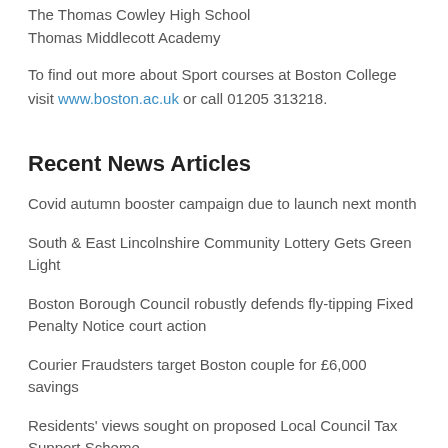The Thomas Cowley High School
Thomas Middlecott Academy
To find out more about Sport courses at Boston College visit www.boston.ac.uk or call 01205 313218.
Recent News Articles
Covid autumn booster campaign due to launch next month
South & East Lincolnshire Community Lottery Gets Green Light
Boston Borough Council robustly defends fly-tipping Fixed Penalty Notice court action
Courier Fraudsters target Boston couple for £6,000 savings
Residents' views sought on proposed Local Council Tax Support Scheme